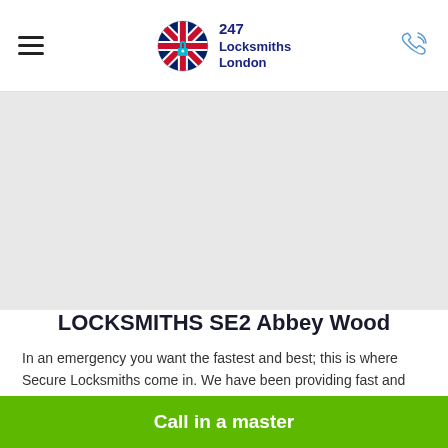247 Locksmiths London
[Figure (photo): Grey hero image placeholder area for a locksmiths service website]
LOCKSMITHS SE2 Abbey Wood
In an emergency you want the fastest and best; this is where Secure Locksmiths come in. We have been providing fast and reliable lock
Call in a master